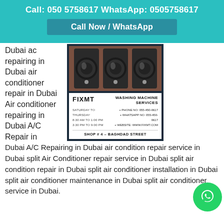Call: 050 5758617 WhatsApp: 0505758617
Call Now / WhatsApp
Dubai ac repairing in Dubai air conditioner repair in Dubai Air conditioner repairing in Dubai A/C Repair in
[Figure (photo): FIXMT Washing Machine Services business card with washing machines photo]
Dubai A/C Repairing in Dubai air condition repair service in Dubai split Air Conditioner repair service in Dubai split air condition repair in Dubai split air conditioner installation in Dubai split air conditioner maintenance in Dubai split air conditioner service in Dubai.
Call us now at 055-450-0617 for Daewoo Washing Machine